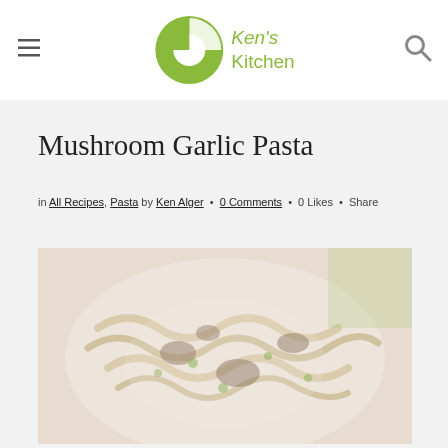Ken's Kitchen (logo/navigation header)
Mushroom Garlic Pasta
in All Recipes, Pasta by Ken Alger • 0 Comments • 0 Likes • Share
[Figure (photo): Close-up photo of mushroom garlic pasta dish — creamy pasta with mushrooms and green peas on a white plate, faded/washed out appearance]